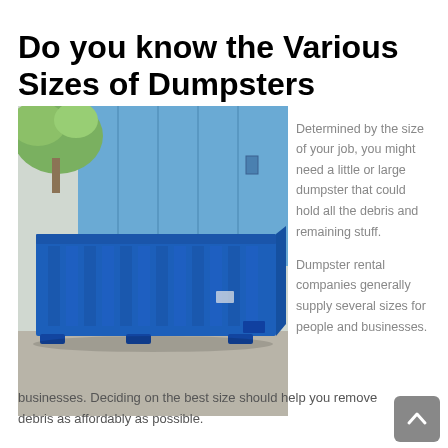Do you know the Various Sizes of Dumpsters Available?
[Figure (photo): A large blue roll-off dumpster photographed outdoors beside a blue metal building, showing the dumpster's corrugated side panels and feet.]
Determined by the size of your job, you might need a little or large dumpster that could hold all the debris and remaining stuff.
Dumpster rental companies generally supply several sizes for people and businesses. Deciding on the best size should help you remove debris as affordably as possible.